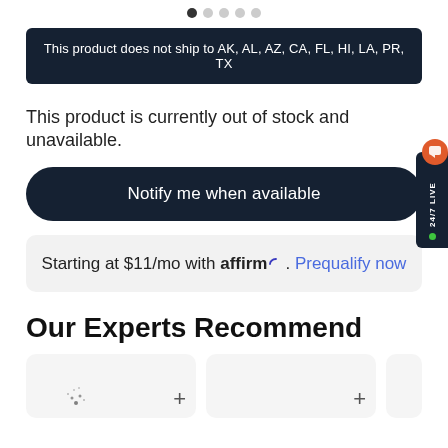[Figure (other): Navigation dots row at top of page, one dark filled dot and four light/grey dots]
This product does not ship to AK, AL, AZ, CA, FL, HI, LA, PR, TX
This product is currently out of stock and unavailable.
Notify me when available
Starting at $11/mo with affirm. Prequalify now
Our Experts Recommend
[Figure (photo): Two product card thumbnails with plus buttons at the bottom, partially visible third card]